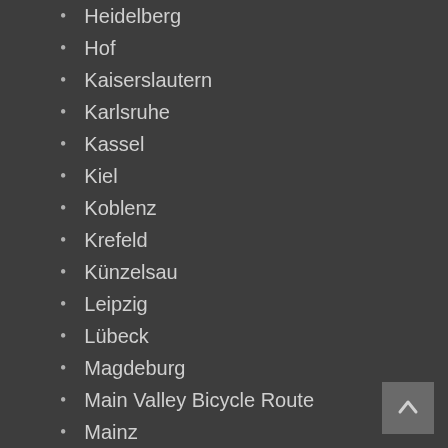Heidelberg
Hof
Kaiserslautern
Karlsruhe
Kassel
Kiel
Koblenz
Krefeld
Künzelsau
Leipzig
Lübeck
Magdeburg
Main Valley Bicycle Route
Mainz
Mannheim
Meiningen
Mönchengladbach
Munich (= München)
Münster
Nürnberg
Oldenburg